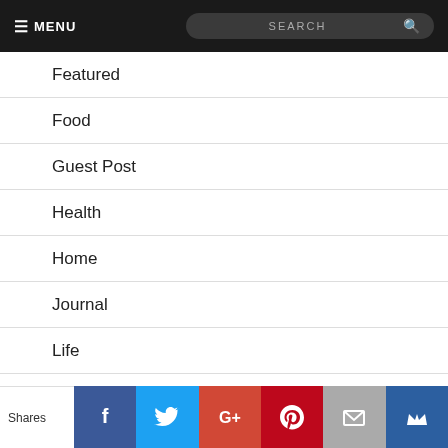≡ MENU  SEARCH
Featured
Food
Guest Post
Health
Home
Journal
Life
Mode Xlusive
Ottawa
Shares  Facebook  Twitter  Google+  Pinterest  Email  Crown